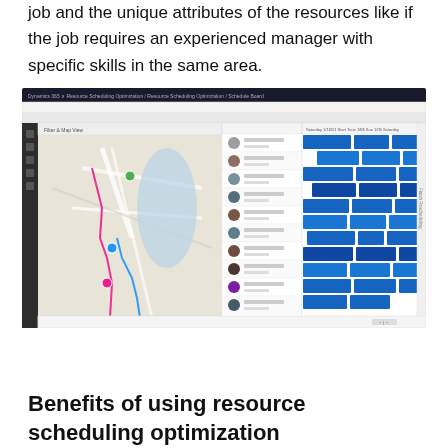job and the unique attributes of the resources like if the job requires an experienced manager with specific skills in the same area.
[Figure (screenshot): Screenshot of Microsoft Dynamics 365 Resource Scheduling Optimization interface showing a map view on the left with color-coded routes across a city map, a list of resources in the middle panel with profile photos and names, and a schedule board on the right with blue booking blocks arranged in a Gantt-style timeline view.]
Benefits of using resource scheduling optimization